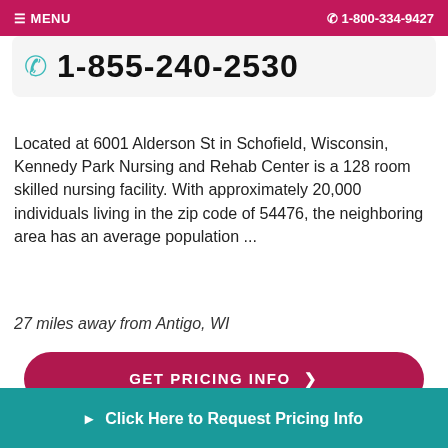≡ MENU  ☎ 1-800-334-9427
☎ 1-855-240-2530
Located at 6001 Alderson St in Schofield, Wisconsin, Kennedy Park Nursing and Rehab Center is a 128 room skilled nursing facility. With approximately 20,000 individuals living in the zip code of 54476, the neighboring area has an average population ...
27 miles away from Antigo, WI
GET PRICING INFO ›
SEE DETAILS ›
Click Here to Request Pricing Info